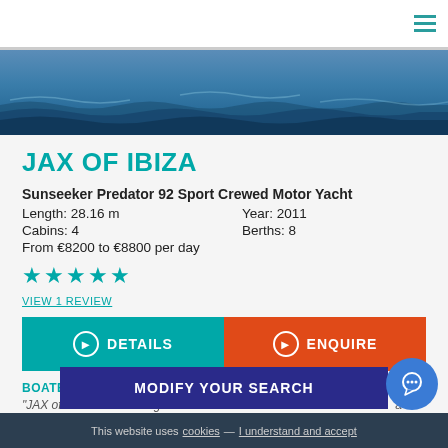Navigation bar with hamburger menu
[Figure (photo): Ocean water surface photo banner]
JAX OF IBIZA
Sunseeker Predator 92 Sport Crewed Motor Yacht
Length: 28.16 m   Year: 2011
Cabins: 4   Berths: 8
From €8200 to €8800 per day
★★★★★
VIEW 1 REVIEW
DETAILS
ENQUIRE
BOATBOOKINGS SAYS:
"JAX of IBIZA is on... sing the Balearics. She has the best berth in Ibiza included in the ch... feel"
MODIFY YOUR SEARCH
This website uses cookies — I understand and accept